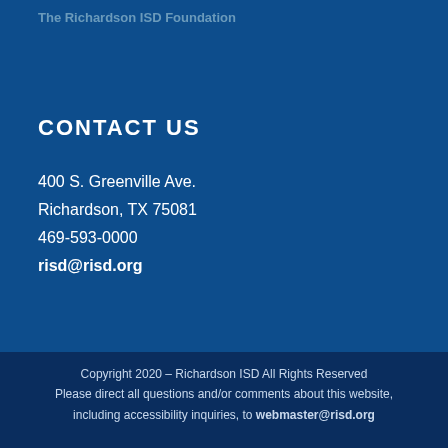The Richardson ISD Foundation
CONTACT US
400 S. Greenville Ave.
Richardson, TX 75081
469-593-0000
risd@risd.org
Copyright 2020 – Richardson ISD All Rights Reserved
Please direct all questions and/or comments about this website, including accessibility inquiries, to webmaster@risd.org